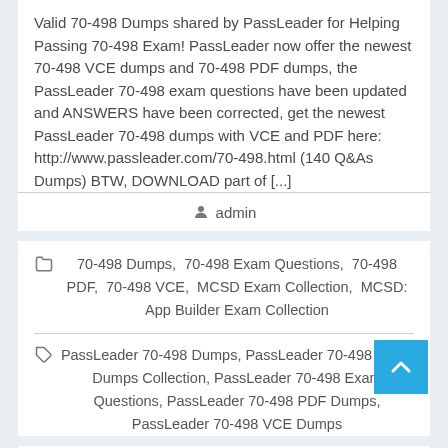Valid 70-498 Dumps shared by PassLeader for Helping Passing 70-498 Exam! PassLeader now offer the newest 70-498 VCE dumps and 70-498 PDF dumps, the PassLeader 70-498 exam questions have been updated and ANSWERS have been corrected, get the newest PassLeader 70-498 dumps with VCE and PDF here: http://www.passleader.com/70-498.html (140 Q&As Dumps) BTW, DOWNLOAD part of [...]
admin
70-498 Dumps, 70-498 Exam Questions, 70-498 PDF, 70-498 VCE, MCSD Exam Collection, MCSD: App Builder Exam Collection
PassLeader 70-498 Dumps, PassLeader 70-498 Exam Dumps Collection, PassLeader 70-498 Exam Questions, PassLeader 70-498 PDF Dumps, PassLeader 70-498 VCE Dumps
PassLeader New 70-498 Exam Dumps for Free in VCE and PDF with Corrected